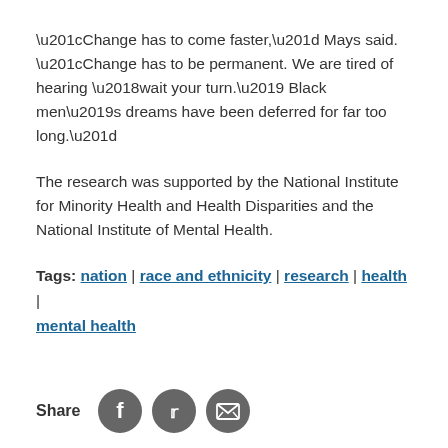“Change has to come faster,” Mays said. “Change has to be permanent. We are tired of hearing ‘wait your turn.’ Black men’s dreams have been deferred for far too long.”
The research was supported by the National Institute for Minority Health and Health Disparities and the National Institute of Mental Health.
Tags: nation | race and ethnicity | research | health | mental health
[Figure (infographic): Share icons: Facebook, Twitter, and email/print buttons as dark grey circles]
More Images